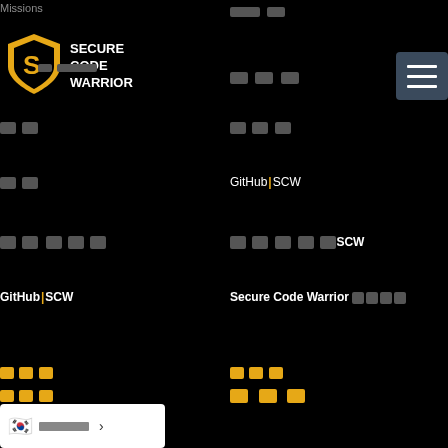Missions
[Figure (logo): Secure Code Warrior logo - shield shape in gold/yellow with S letter, text SECURE CODE WARRIOR in white]
[redacted text - Korean navigation items and SCW platform content]
GitHub SCW
GitHub SCW
Secure Code Warrior [redacted]
[orange redacted] [orange redacted]
[orange redacted] [yellow blocks]
[Figure (screenshot): Language selector popup showing Korean flag emoji with redacted text and arrow]